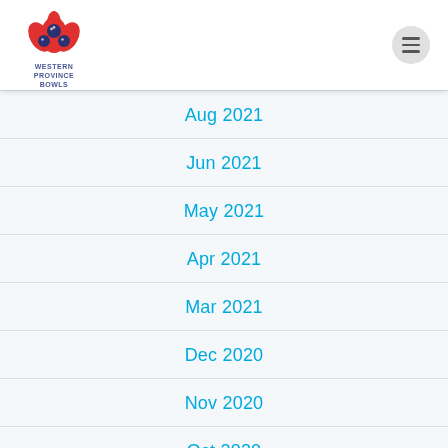Western Province Bowls
Aug 2021
Jun 2021
May 2021
Apr 2021
Mar 2021
Dec 2020
Nov 2020
Oct 2020
Aug 2020